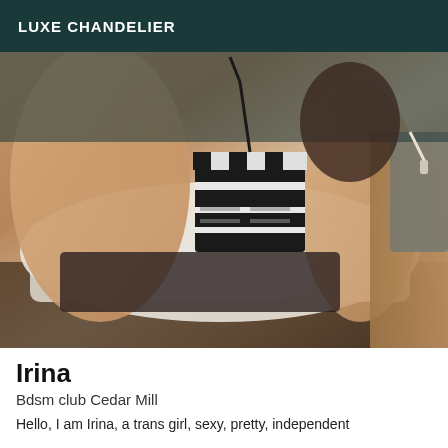LUXE CHANDELIER
[Figure (photo): A person holding a clapperboard accessory, photographed in a room with white bedding and wooden furniture, taken from an overhead angle.]
Irina
Bdsm club Cedar Mill
Hello, I am Irina, a trans girl, sexy, pretty, independent